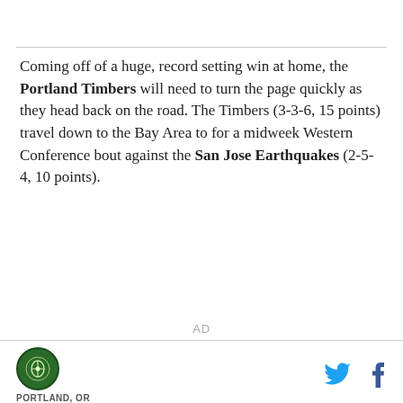Coming off of a huge, record setting win at home, the Portland Timbers will need to turn the page quickly as they head back on the road. The Timbers (3-3-6, 15 points) travel down to the Bay Area to for a midweek Western Conference bout against the San Jose Earthquakes (2-5-4, 10 points).
AD
PORTLAND, OR